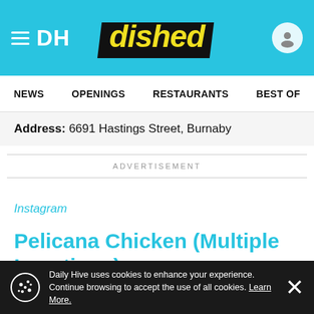DH dished
NEWS   OPENINGS   RESTAURANTS   BEST OF
Address: 6691 Hastings Street, Burnaby
ADVERTISEMENT
Instagram
Pelicana Chicken (Multiple Locations)
Daily Hive uses cookies to enhance your experience. Continue browsing to accept the use of all cookies. Learn More.